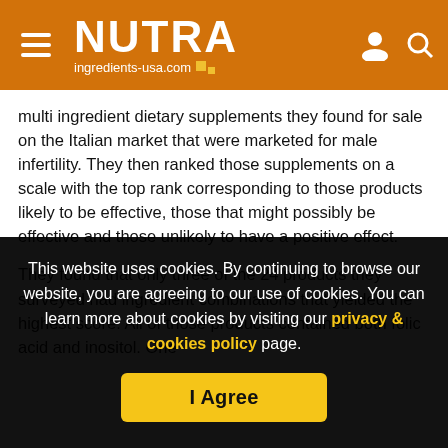NUTRA ingredients-usa.com
multi ingredient dietary supplements they found for sale on the Italian market that were marketed for male infertility. They then ranked those supplements on a scale with the top rank corresponding to those products likely to be effective, those that might possibly be effective and those unlikely to have a positive effect.
They found that only three of the 24 products they surveyed had ingredient combinations that yielded the highest score. All of those products contained both folic acid and inositol. One
This website uses cookies. By continuing to browse our website, you are agreeing to our use of cookies. You can learn more about cookies by visiting our privacy & cookies policy page.
I Agree